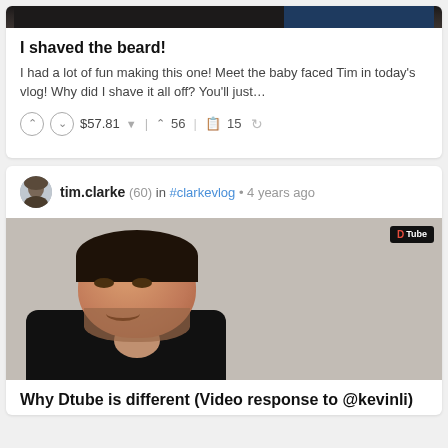[Figure (screenshot): Partial top image of a video thumbnail from a previous post]
I shaved the beard!
I had a lot of fun making this one! Meet the baby faced Tim in today's vlog! Why did I shave it all off? You'll just...
$57.81  56  15
tim.clarke (60) in #clarkevlog • 4 years ago
[Figure (photo): Video thumbnail showing a young man with short beard and dark hair smiling at camera, wearing a dark sweater, with DTube logo badge in top right corner]
Why Dtube is different (Video response to @kevinli)